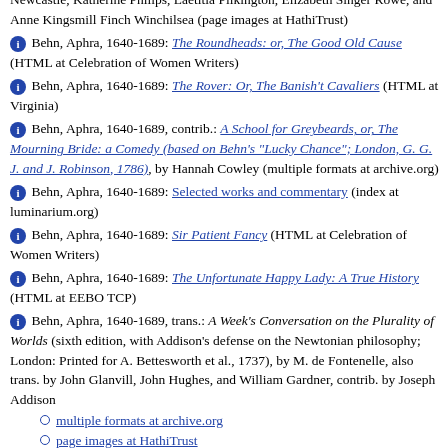Newcastle, Katherine Philips, Laetitia Pilkington, Elizabeth Singer Rowe, and Anne Kingsmill Finch Winchilsea (page images at HathiTrust)
Behn, Aphra, 1640-1689: The Roundheads: or, The Good Old Cause (HTML at Celebration of Women Writers)
Behn, Aphra, 1640-1689: The Rover: Or, The Banish't Cavaliers (HTML at Virginia)
Behn, Aphra, 1640-1689, contrib.: A School for Greybeards, or, The Mourning Bride: a Comedy (based on Behn's "Lucky Chance"; London, G. G. J. and J. Robinson, 1786), by Hannah Cowley (multiple formats at archive.org)
Behn, Aphra, 1640-1689: Selected works and commentary (index at luminarium.org)
Behn, Aphra, 1640-1689: Sir Patient Fancy (HTML at Celebration of Women Writers)
Behn, Aphra, 1640-1689: The Unfortunate Happy Lady: A True History (HTML at EEBO TCP)
Behn, Aphra, 1640-1689, trans.: A Week's Conversation on the Plurality of Worlds (sixth edition, with Addison's defense on the Newtonian philosophy; London: Printed for A. Bettesworth et al., 1737), by M. de Fontenelle, also trans. by John Glanvill, John Hughes, and William Gardner, contrib. by Joseph Addison
multiple formats at archive.org
page images at HathiTrust